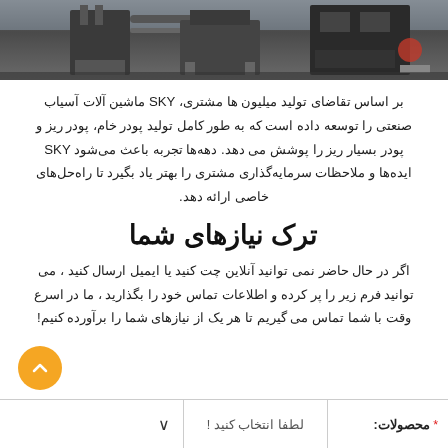[Figure (photo): Industrial machinery/equipment photograph strip showing heavy milling/grinding machines in a factory setting]
بر اساس تقاضای تولید میلیون ها مشتری، SKY ماشین آلات آسیاب صنعتی را توسعه داده است که به طور کامل تولید پودر خام، پودر ریز و پودر بسیار ریز را پوشش می دهد. دهه‌ها تجربه باعث می‌شود SKY ایده‌ها و ملاحظات سرمایه‌گذاری مشتری را بهتر یاد بگیرد تا راه‌حل‌های خاصی ارائه دهد.
ترک نیازهای شما
اگر در حال حاضر نمی توانید آنلاین چت کنید یا ایمیل ارسال کنید ، می توانید فرم زیر را پر کرده و اطلاعات تماس خود را بگذارید ، ما در اسرع وقت با شما تماس می گیریم تا هر یک از نیازهای شما را برآورده کنیم!
| محصولات: | لطفا انتخاب کنید ! |
| --- | --- |